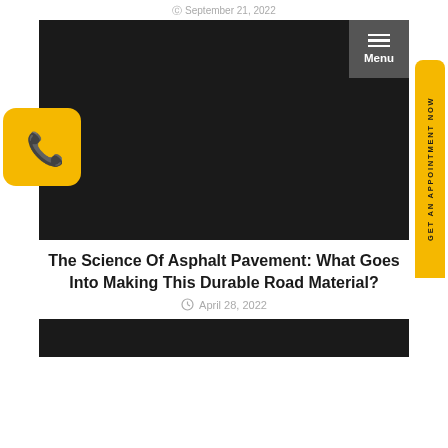September 21, 2022
[Figure (screenshot): Dark hero image (nearly black) with a gray menu button in the top right corner showing three horizontal lines and the word Menu. A yellow phone button with a phone icon is on the left side. A vertical yellow sidebar button on the right reads GET AN APPOINTMENT NOW.]
The Science Of Asphalt Pavement: What Goes Into Making This Durable Road Material?
April 28, 2022
[Figure (photo): Dark image partially visible at the bottom of the page]